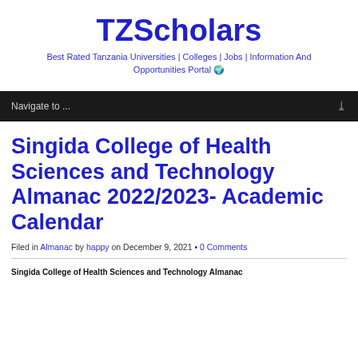TZScholars
Best Rated Tanzania Universities | Colleges | Jobs | Information And Opportunities Portal 🌍
Navigate to ...
Singida College of Health Sciences and Technology Almanac 2022/2023- Academic Calendar
Filed in Almanac by happy on December 9, 2021 • 0 Comments
Singida College of Health Sciences and Technology Almanac